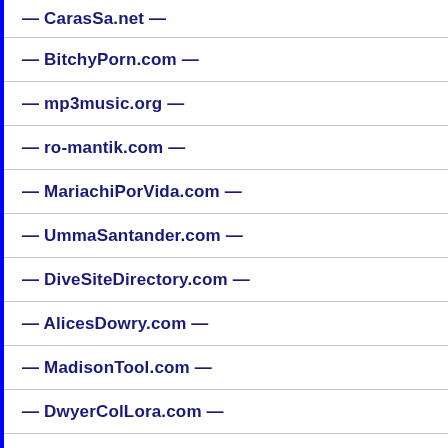— CarasSa.net —
— BitchyPorn.com —
— mp3music.org —
— ro-mantik.com —
— MariachiPorVida.com —
— UmmaSantander.com —
— DiveSiteDirectory.com —
— AlicesDowry.com —
— MadisonTool.com —
— DwyerColLora.com —
— DacorService.com —